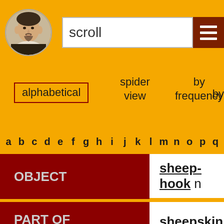[Figure (illustration): Portrait of Shakespeare in circular frame]
scroll
alphabetical
spider view
by frequency
by
a b c d e f g h i j k l m n o p q
| Category | Word |
| --- | --- |
| OBJECT | sheep-hook n |
| PART OF BODY | sheepskin n |